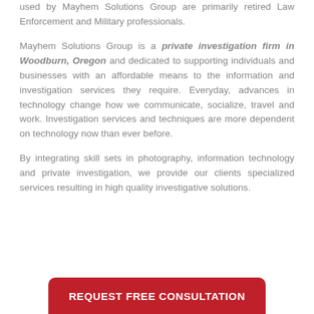used by Mayhem Solutions Group are primarily retired Law Enforcement and Military professionals.

Mayhem Solutions Group is a private investigation firm in Woodburn, Oregon and dedicated to supporting individuals and businesses with an affordable means to the information and investigation services they require. Everyday, advances in technology change how we communicate, socialize, travel and work. Investigation services and techniques are more dependent on technology now than ever before.

By integrating skill sets in photography, information technology and private investigation, we provide our clients specialized services resulting in high quality investigative solutions.
REQUEST FREE CONSULTATION